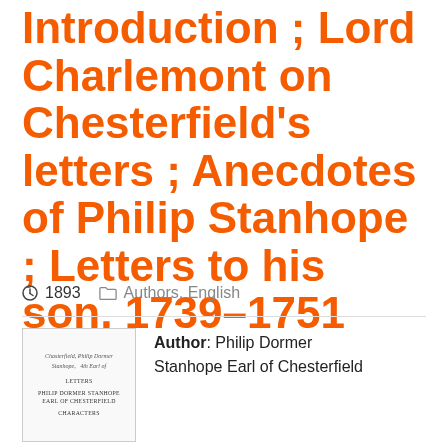Introduction ; Lord Charlemont on Chesterfield's letters ; Anecdotes of Philip Stanhope ; Letters to his son, 1739–1751
1893   Authors, English
[Figure (photo): Small thumbnail image of a book cover/title page showing handwritten text at top reading 'Chesterfield, Philip Dormer Stanhope, 4th Earl of' and printed text 'LETTERS' and 'PHILIP DORMER STANHOPE EARL OF CHESTERFIELD' and 'CHARACTERS']
Author: Philip Dormer Stanhope Earl of Chesterfield